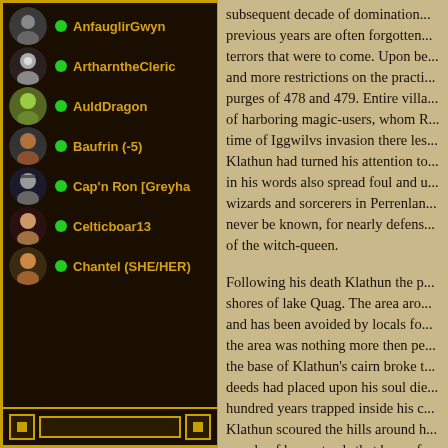AnfauglirGwyn
ArtharntheCleric
AuldDragon
Baufrin (-5)
Cap'n Ron [Greyha
Celticboar13
Chantel (SHE/HER)
subsequent decade of domination... previous years are often forgotten... terrors that were to come. Upon be... and more restrictions on the practi... purges of 478 and 479. Entire villa... of harboring magic-users, whom R... time of Iggwilvs invasion there les... Klathun had turned his attention to... in his words also spread foul and u... wizards and sorcerers in Perrenlan... never be known, for nearly defens... of the witch-queen.
Following his death Klathun the p... shores of lake Quag. The area aro... and has been avoided by locals fo... the area was nothing more then pe... the base of Klathun's cairn broke t... deeds had placed upon his soul die... hundred years trapped inside his c... Klathun scoured the hills around h... couple of homesteads that brave fa...